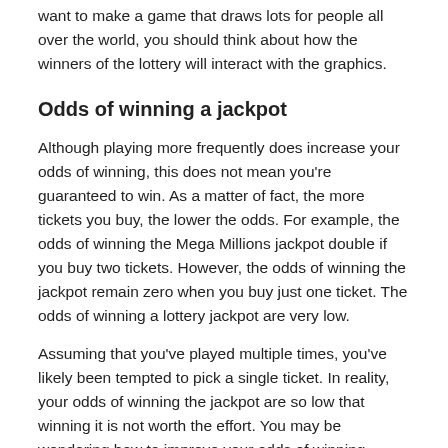want to make a game that draws lots for people all over the world, you should think about how the winners of the lottery will interact with the graphics.
Odds of winning a jackpot
Although playing more frequently does increase your odds of winning, this does not mean you're guaranteed to win. As a matter of fact, the more tickets you buy, the lower the odds. For example, the odds of winning the Mega Millions jackpot double if you buy two tickets. However, the odds of winning the jackpot remain zero when you buy just one ticket. The odds of winning a lottery jackpot are very low.
Assuming that you've played multiple times, you've likely been tempted to pick a single ticket. In reality, your odds of winning the jackpot are so low that winning it is not worth the effort. You may be wondering how to improve your odds of winning. There are several simple ways to boost your odds. One way